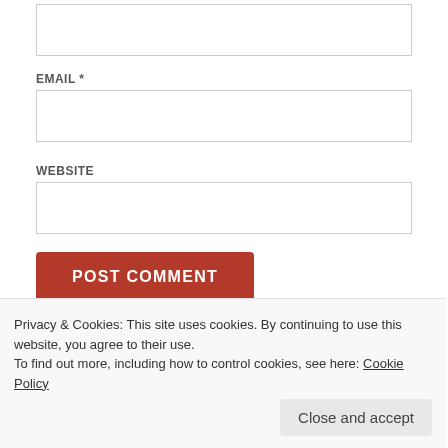EMAIL *
WEBSITE
POST COMMENT
NOTIFY ME OF NEW COMMENTS VIA EMAIL.
Privacy & Cookies: This site uses cookies. By continuing to use this website, you agree to their use.
To find out more, including how to control cookies, see here: Cookie Policy
Close and accept